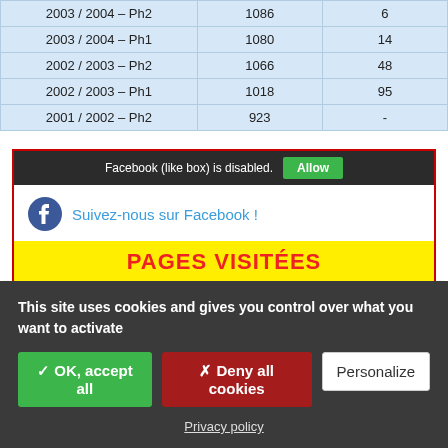| 2003 / 2004 – Ph2 | 1086 | 6 |
| 2003 / 2004 – Ph1 | 1080 | 14 |
| 2002 / 2003 – Ph2 | 1066 | 48 |
| 2002 / 2003 – Ph1 | 1018 | 95 |
| 2001 / 2002 – Ph2 | 923 | - |
[Figure (screenshot): Facebook like box disabled notice with Allow button, Suivez-nous sur Facebook link with Facebook icon, PAGES VISITÉES yellow banner, and page thumbnails.]
This site uses cookies and gives you control over what you want to activate
✓ OK, accept all
✗ Deny all cookies
Personalize
Privacy policy